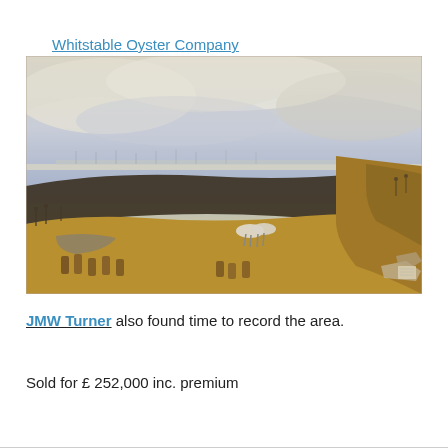Whitstable Oyster Company
[Figure (photo): A watercolour painting by JMW Turner depicting the Whitstable area. The landscape shows a wide coastal panorama with a stormy sky in muted blues and creams, a distant town on the horizon, dark earthy foreground terrain with figures and horses, barrels, and rocky elements at lower right.]
JMW Turner also found time to record the area.
Sold for £ 252,000 inc. premium